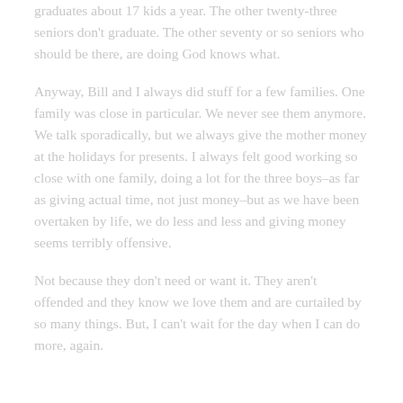graduates about 17 kids a year. The other twenty-three seniors don't graduate. The other seventy or so seniors who should be there, are doing God knows what.
Anyway, Bill and I always did stuff for a few families. One family was close in particular. We never see them anymore. We talk sporadically, but we always give the mother money at the holidays for presents. I always felt good working so close with one family, doing a lot for the three boys–as far as giving actual time, not just money–but as we have been overtaken by life, we do less and less and giving money seems terribly offensive.
Not because they don't need or want it. They aren't offended and they know we love them and are curtailed by so many things. But, I can't wait for the day when I can do more, again.